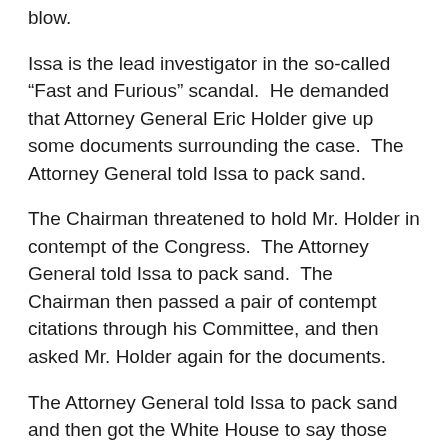blow.
Issa is the lead investigator in the so-called “Fast and Furious” scandal.  He demanded that Attorney General Eric Holder give up some documents surrounding the case.  The Attorney General told Issa to pack sand.
The Chairman threatened to hold Mr. Holder in contempt of the Congress.  The Attorney General told Issa to pack sand.  The Chairman then passed a pair of contempt citations through his Committee, and then asked Mr. Holder again for the documents.
The Attorney General told Issa to pack sand and then got the White House to say those documents were included under “executive privilege”, to the surprise of just about everybody.
Nobody thought that those documents had anything to do with the White House (although now there is